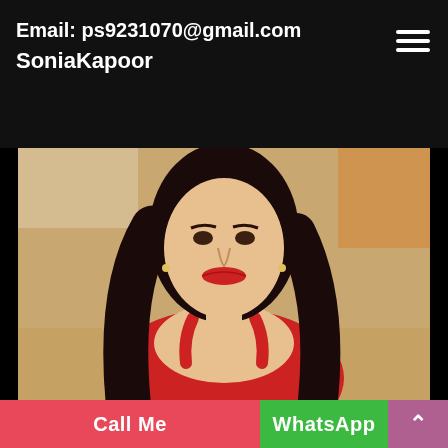Email: ps9231070@gmail.com
SoniaKapoor
[Figure (photo): Portrait photo of a young woman with long dark hair wearing a red dress, seated against a beige/gold background.]
Call Me
WhatsApp
^